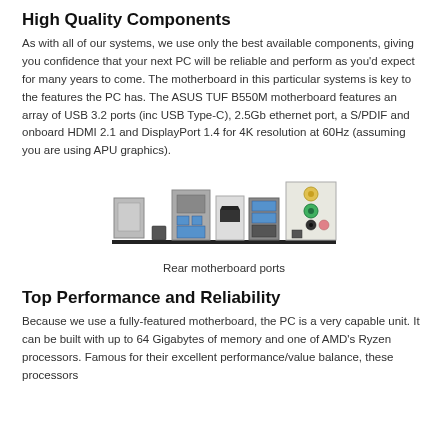High Quality Components
As with all of our systems, we use only the best available components, giving you confidence that your next PC will be reliable and perform as you'd expect for many years to come. The motherboard in this particular systems is key to the features the PC has. The ASUS TUF B550M motherboard features an array of USB 3.2 ports (inc USB Type-C), 2.5Gb ethernet port, a S/PDIF and onboard HDMI 2.1 and DisplayPort 1.4 for 4K resolution at 60Hz (assuming you are using APU graphics).
[Figure (photo): Photo of rear motherboard I/O ports showing ethernet, USB, HDMI, DisplayPort, and audio jacks]
Rear motherboard ports
Top Performance and Reliability
Because we use a fully-featured motherboard, the PC is a very capable unit. It can be built with up to 64 Gigabytes of memory and one of AMD's Ryzen processors. Famous for their excellent performance/value balance, these processors